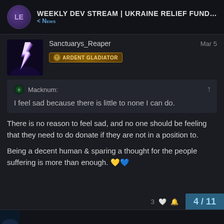WEEKLY DEV STREAM | UKRAINE RELIEF FUND... < NEWS
Sanctuarys_Reaper   Mar 5   ARDENT GLADIATOR
Macknum: I feel sad because there is little to none I can do.
There is no reason to feel sad, and no one should be feeling that they need to do donate if they are not in a position to.
Being a decent human & sparing a thought for the people suffering is more than enough. 💛💙
4/11